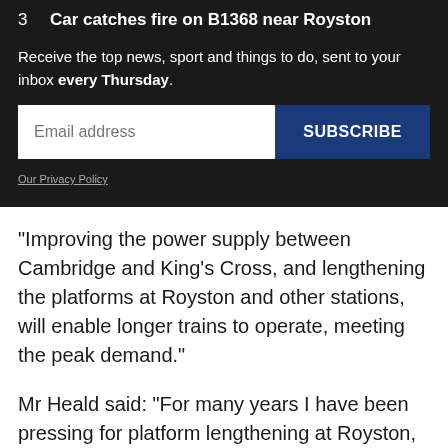3   Car catches fire on B1368 near Royston
Receive the top news, sport and things to do, sent to your inbox every Thursday.
[Figure (other): Email subscription form with email address input field and Subscribe button]
Our Privacy Policy
"Improving the power supply between Cambridge and King's Cross, and lengthening the platforms at Royston and other stations, will enable longer trains to operate, meeting the peak demand."
Mr Heald said: "For many years I have been pressing for platform lengthening at Royston, and power